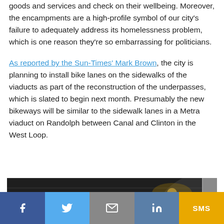goods and services and check on their wellbeing. Moreover, the encampments are a high-profile symbol of our city's failure to adequately address its homelessness problem, which is one reason they're so embarrassing for politicians.
As reported by the Sun-Times' Mark Brown, the city is planning to install bike lanes on the sidewalks of the viaducts as part of the reconstruction of the underpasses, which is slated to begin next month. Presumably the new bikeways will be similar to the sidewalk lanes in a Metra viaduct on Randolph between Canal and Clinton in the West Loop.
[Figure (photo): Photo of a viaduct underpass showing signs: ONE WAY with arrow, a bicycle route sign, and a pedestrian sign, in a dark underpass setting.]